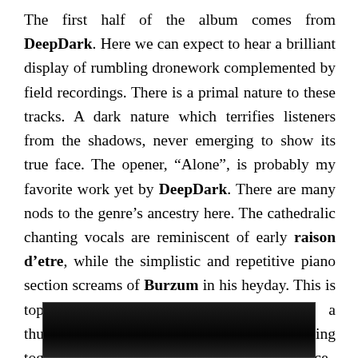The first half of the album comes from DeepDark. Here we can expect to hear a brilliant display of rumbling dronework complemented by field recordings. There is a primal nature to these tracks. A dark nature which terrifies listeners from the shadows, never emerging to show its true face. The opener, “Alone”, is probably my favorite work yet by DeepDark. There are many nods to the genre’s ancestry here. The cathedralic chanting vocals are reminiscent of early raison d’etre, while the simplistic and repetitive piano section screams of Burzum in his heyday. This is topped off with field recordings of a thunderstorm which brings the whole thing together into a beautifully dark and sinister force.
[Figure (photo): Dark photograph, partially visible at the bottom of the page, showing a very dark scene with minimal detail visible.]